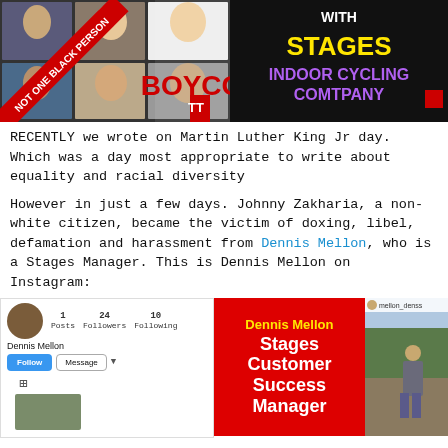[Figure (photo): Split image: left shows a collage of women with a diagonal red banner reading 'NOT ONE BLACK PERSON' and a red 'BOYCO[TT]' text overlay. Right shows black background with text 'WITH STAGES INDOOR CYCLING COMTPANY' in white/yellow/purple.]
RECENTLY we wrote on Martin Luther King Jr day.  Which was a  day most appropriate to write about equality and racial diversity
However in just a few days.  Johnny Zakharia, a non-white citizen, became the victim of doxing, libel, defamation and harassment from Dennis Mellon, who is a Stages Manager.  This is Dennis Mellon on Instagram:
[Figure (screenshot): Instagram profile screenshot of Dennis Mellon showing avatar, 1 Post, 24 Followers, 10 Following, Follow and Message buttons, grid icon, and a thumbnail photo.]
[Figure (infographic): Red card with yellow text 'Dennis Mellon' and white text 'Stages Customer Success Manager']
[Figure (photo): Photo of a man outdoors, username mellon_denss shown at top.]